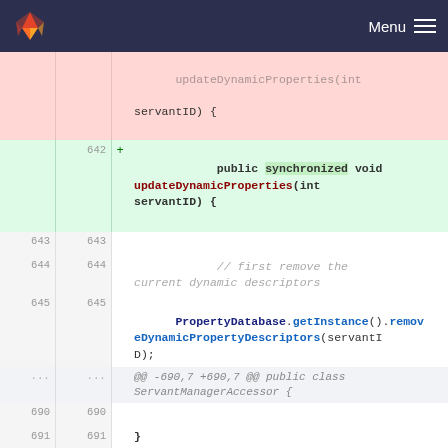GitLab — Menu
[Figure (screenshot): Code diff view showing Java method updateDynamicProperties and removeController with added synchronized modifier]
641 del: updateDynamicProperties(int servantID) {
642 add: public synchronized void updateDynamicProperties(int servantID) {
643 643: (blank)
644 644: // first remove the current dynamic descriptors
645 645: PropertyDatabase.getInstance().removeDynamicPropertyDescriptors(servantID);
@@ -690,7 +690,7 @@ public class ServantManagerAccessor {
690 690: (blank)
691 691: }
692 692: (blank)
693 del: public void removeController(ClientServantDescriptor descriptor) {
693 add: public synchronized void